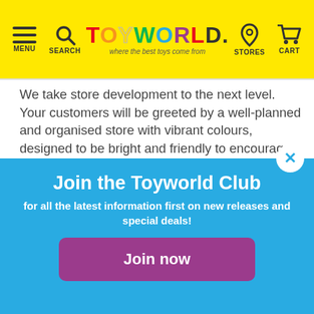TOYWORLD — where the best toys come from — MENU SEARCH STORES CART
We take store development to the next level. Your customers will be greeted by a well-planned and organised store with vibrant colours, designed to be bright and friendly to encourage customers to move throughout the store and enjoy their time browsing and shopping.  Our design specs include everything from flooring and paint, to custom-designed fixtures, creative merchandising and low sight lines that complete an environment that is exciting and interactive, yet safe and comforting.
Join the Toyworld Club
for all the latest information first on new releases and special deals!
Join now